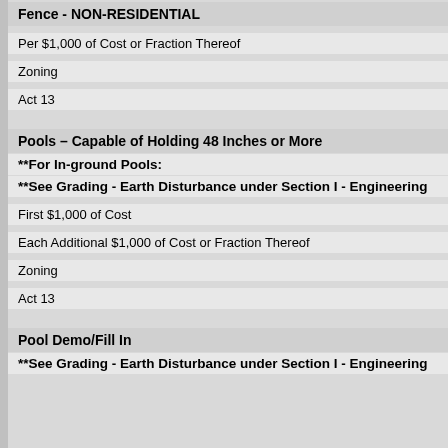Fence - NON-RESIDENTIAL
Per $1,000 of Cost or Fraction Thereof
Zoning
Act 13
Pools – Capable of Holding 48 Inches or More
**For In-ground Pools:
**See Grading - Earth Disturbance under Section I - Engineering
First $1,000 of Cost
Each Additional $1,000 of Cost or Fraction Thereof
Zoning
Act 13
Pool Demo/Fill In
**See Grading - Earth Disturbance under Section I - Engineering